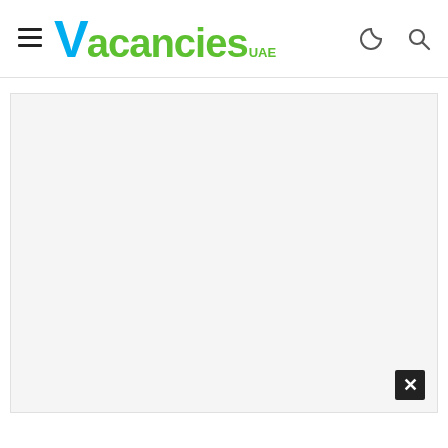Vacancies UAE - navigation header with hamburger menu, logo, moon icon, search icon
[Figure (screenshot): White advertisement placeholder area with a close (X) button in the bottom-right corner]